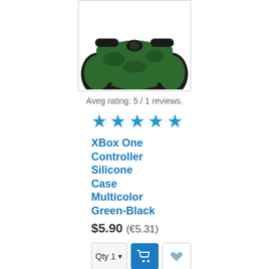[Figure (photo): Top portion of an Xbox One controller with green-black silicone case on white background, partially cropped]
Aveg rating: 5 / 1 reviews.
[Figure (other): Five blue star rating icons]
XBox One Controller Silicone Case Multicolor Green-Black
$5.90 (€5.31)
[Figure (other): Quantity selector with value 1 and dropdown, add to cart button (blue with cart icon), and wishlist button (heart icon)]
[Figure (other): Social share buttons: Like 0 (Facebook), Share (Facebook), Tweet (Twitter), Pin it (Pinterest)]
[Figure (photo): Xbox One controller with camouflage green-brown-black silicone case, showing full front view with buttons and joysticks]